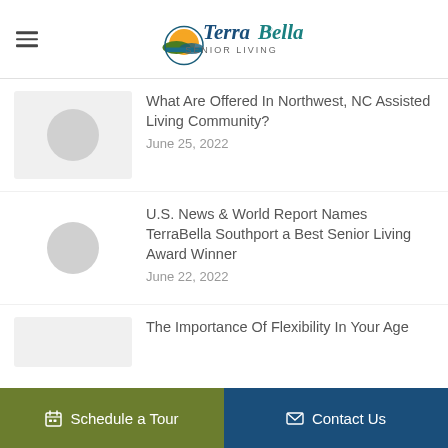TerraBella Senior Living
What Are Offered In Northwest, NC Assisted Living Community?
June 25, 2022
U.S. News & World Report Names TerraBella Southport a Best Senior Living Award Winner
June 22, 2022
The Importance Of Flexibility In Your Age
Schedule a Tour   Contact Us